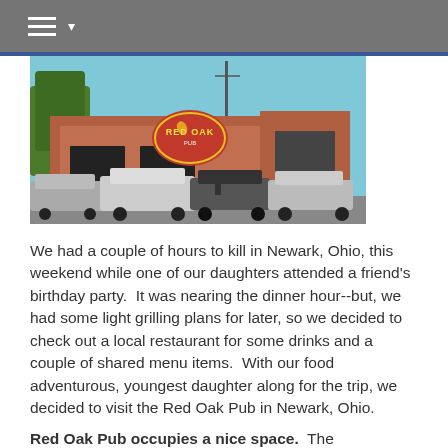☰ ▾
[Figure (photo): Exterior photo of the Red Oak Pub in Newark, Ohio, showing the brick building with a circular red sign reading 'Red Oak Pub' and a parking lot full of cars in the foreground.]
We had a couple of hours to kill in Newark, Ohio, this weekend while one of our daughters attended a friend's birthday party.  It was nearing the dinner hour--but, we had some light grilling plans for later, so we decided to check out a local restaurant for some drinks and a couple of shared menu items.  With our food adventurous, youngest daughter along for the trip, we decided to visit the Red Oak Pub in Newark, Ohio.
Red Oak Pub occupies a nice space.  The